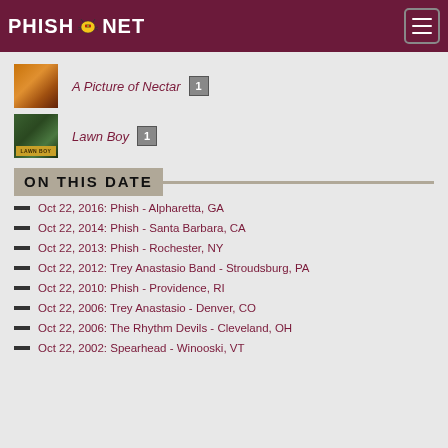PHISH.NET
A Picture of Nectar  1
Lawn Boy  1
ON THIS DATE
Oct 22, 2016: Phish - Alpharetta, GA
Oct 22, 2014: Phish - Santa Barbara, CA
Oct 22, 2013: Phish - Rochester, NY
Oct 22, 2012: Trey Anastasio Band - Stroudsburg, PA
Oct 22, 2010: Phish - Providence, RI
Oct 22, 2006: Trey Anastasio - Denver, CO
Oct 22, 2006: The Rhythm Devils - Cleveland, OH
Oct 22, 2002: Spearhead - Winooski, VT